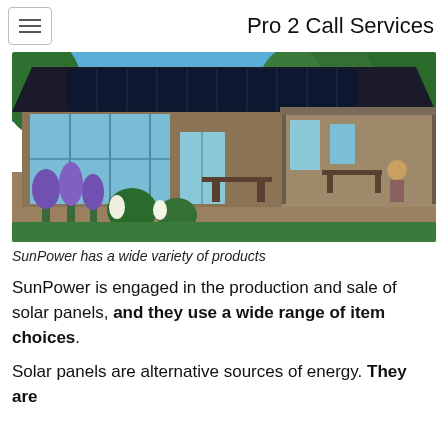Pro 2 Call Services
[Figure (photo): A house with solar panels on the roof, surrounded by a garden with purple flowers and green shrubs, with a person working in the garden on the right side.]
SunPower has a wide variety of products
SunPower is engaged in the production and sale of solar panels, and they use a wide range of item choices.
Solar panels are alternative sources of energy. They are